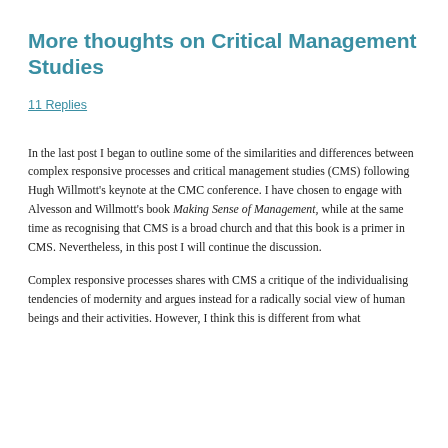More thoughts on Critical Management Studies
11 Replies
In the last post I began to outline some of the similarities and differences between complex responsive processes and critical management studies (CMS) following Hugh Willmott’s keynote at the CMC conference. I have chosen to engage with Alvesson and Willmott’s book Making Sense of Management, while at the same time as recognising that CMS is a broad church and that this book is a primer in CMS. Nevertheless, in this post I will continue the discussion.
Complex responsive processes shares with CMS a critique of the individualising tendencies of modernity and argues instead for a radically social view of human beings and their activities. However, I think this is different from what